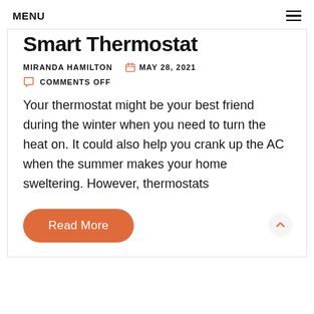MENU
Smart Thermostat
MIRANDA HAMILTON   MAY 28, 2021   COMMENTS OFF
Your thermostat might be your best friend during the winter when you need to turn the heat on. It could also help you crank up the AC when the summer makes your home sweltering. However, thermostats
Read More